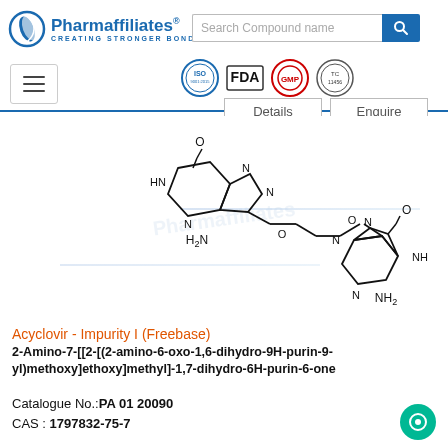Pharmaffiliates® — CREATING STRONGER BONDS
[Figure (illustration): Chemical structure diagram of Acyclovir Impurity I (Freebase) showing two purine ring systems connected via a methoxy-ethoxy-methyl chain. Left moiety: 2-amino-1,9-dihydro-6H-purin-6-one (guanine) with NH and C=O groups. Right moiety: identical guanine ring system. Connected via O-CH2-O-CH2-CH2-O-CH2-N linkage. Pharmaffiliates watermark in background.]
Acyclovir - Impurity I (Freebase)
2-Amino-7-[[2-[(2-amino-6-oxo-1,6-dihydro-9H-purin-9-yl)methoxy]ethoxy]methyl]-1,7-dihydro-6H-purin-6-one
Catalogue No.: PA 01 20090
CAS : 1797832-75-7